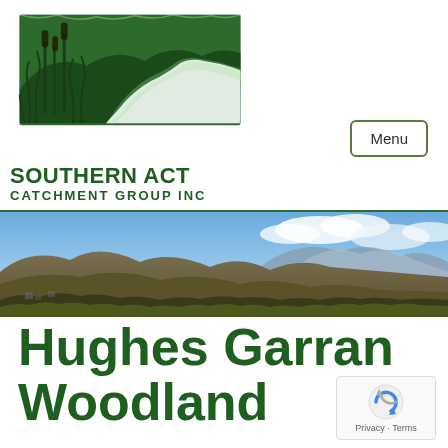[Figure (logo): Southern ACT Catchment Group Inc logo — green rectangular illustration with reeds, a winding river path and hills, with organisation name below]
Menu
[Figure (photo): Panoramic landscape photo showing rolling brown hills with scrub vegetation under a blue sky with light clouds, likely Canberra region, Australia]
Hughes Garran Woodland